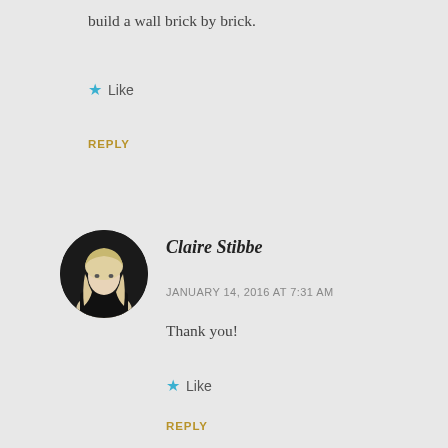build a wall brick by brick.
★ Like
REPLY
[Figure (photo): Circular avatar photo of Claire Stibbe, a woman with long blonde hair wearing a black top, against a dark background.]
Claire Stibbe
JANUARY 14, 2016 AT 7:31 AM
Thank you!
★ Like
REPLY